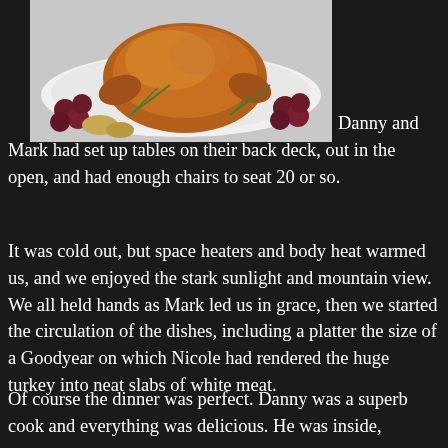[Figure (photo): A roasted turkey on a white plate surrounded by garnishes including rosemary, red grapes, and potatoes, on a light background.]
Danny and Mark had set up tables on their back deck, out in the open, and had enough chairs to seat 20 or so.
It was cold out, but space heaters and body heat warmed us, and we enjoyed the stark sunlight and mountain view. We all held hands as Mark led us in grace, then we started the circulation of the dishes, including a platter the size of a Goodyear on which Nicole had rendered the huge turkey into neat slabs of white meat.
Of course the dinner was perfect. Danny was a superb cook and everything was delicious. He was inside,